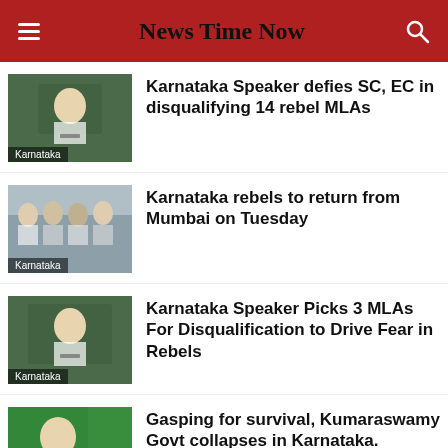News Time Now
[Figure (photo): Person at podium in assembly hall, Karnataka label]
Karnataka Speaker defies SC, EC in disqualifying 14 rebel MLAs
[Figure (photo): Group of people in white clothes outdoors, Karnataka label]
Karnataka rebels to return from Mumbai on Tuesday
[Figure (photo): Person at speaker podium, Karnataka label]
Karnataka Speaker Picks 3 MLAs For Disqualification to Drive Fear in Rebels
[Figure (photo): Person on phone with green background, Karnataka label]
Gasping for survival, Kumaraswamy Govt collapses in Karnataka.
[Figure (photo): Partially visible news item at bottom]
Karnataka Coalition Govt Thr...